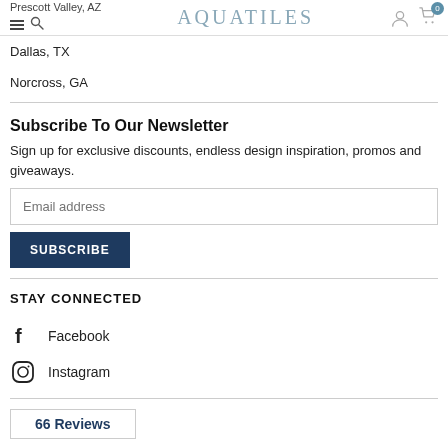Prescott Valley, AZ | AQUATILES
Dallas, TX
Norcross, GA
Subscribe To Our Newsletter
Sign up for exclusive discounts, endless design inspiration, promos and giveaways.
Email address [input field]
SUBSCRIBE
STAY CONNECTED
Facebook
Instagram
66 Reviews